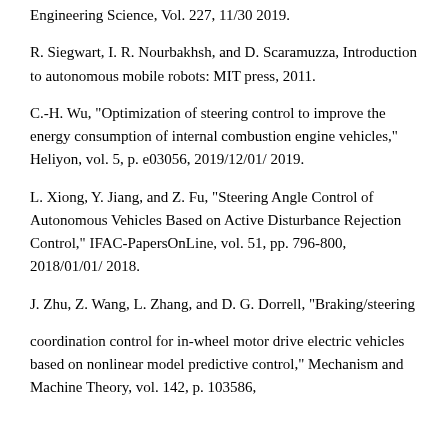Engineering Science, Vol. 227, 11/30 2019.
R. Siegwart, I. R. Nourbakhsh, and D. Scaramuzza, Introduction to autonomous mobile robots: MIT press, 2011.
C.-H. Wu, "Optimization of steering control to improve the energy consumption of internal combustion engine vehicles," Heliyon, vol. 5, p. e03056, 2019/12/01/ 2019.
L. Xiong, Y. Jiang, and Z. Fu, "Steering Angle Control of Autonomous Vehicles Based on Active Disturbance Rejection Control," IFAC-PapersOnLine, vol. 51, pp. 796-800, 2018/01/01/ 2018.
J. Zhu, Z. Wang, L. Zhang, and D. G. Dorrell, "Braking/steering
coordination control for in-wheel motor drive electric vehicles based on nonlinear model predictive control," Mechanism and Machine Theory, vol. 142, p. 103586,